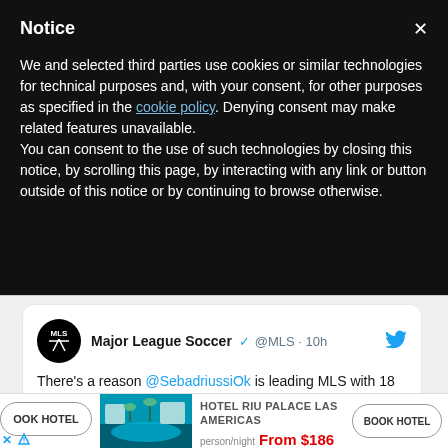Notice
We and selected third parties use cookies or similar technologies for technical purposes and, with your consent, for other purposes as specified in the cookie policy. Denying consent may make related features unavailable.
You can consent to the use of such technologies by closing this notice, by scrolling this page, by interacting with any link or button outside of this notice or by continuing to browse otherwise.
[Figure (screenshot): Tweet from Major League Soccer (@MLS) posted 10h ago: There's a reason @SebadriussiOk is leading MLS with 18 goals. [Argentine flag emoji]]
[Figure (screenshot): Advertisement banner for Hotel RIU Palace Las Americas showing pool image, price From $186 per person/night, with BOOK HOTEL buttons on left and right.]